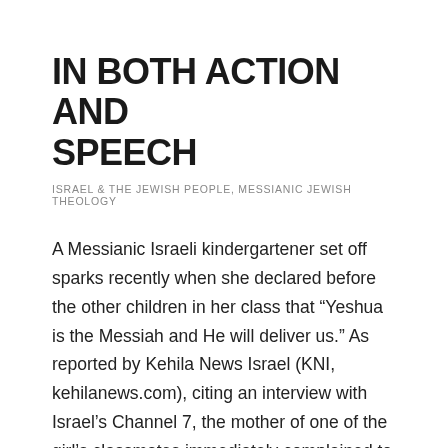IN BOTH ACTION AND SPEECH
ISRAEL & THE JEWISH PEOPLE, MESSIANIC JEWISH THEOLOGY
A Messianic Israeli kindergartener set off sparks recently when she declared before the other children in her class that “Yeshua is the Messiah and He will deliver us.” As reported by Kehila News Israel (KNI, kehilanews.com), citing an interview with Israel’s Channel 7, the mother of one of the girl’s classmates immediately complained to the school for allowing such “hypocritical” and